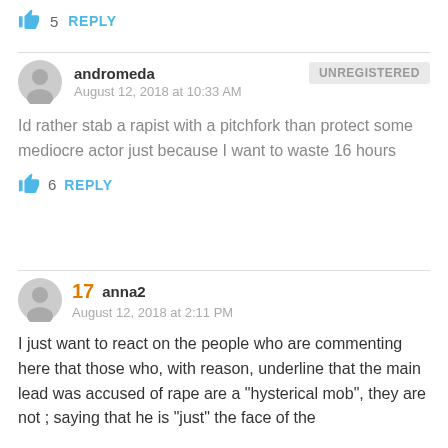👍 5  REPLY
andromeda  UNREGISTERED
August 12, 2018 at 10:33 AM

Id rather stab a rapist with a pitchfork than protect some mediocre actor just because I want to waste 16 hours

👍 6  REPLY
17  anna2
August 12, 2018 at 2:11 PM

I just want to react on the people who are commenting here that those who, with reason, underline that the main lead was accused of rape are a "hysterical mob", they are not ; saying that he is "just" the face of the